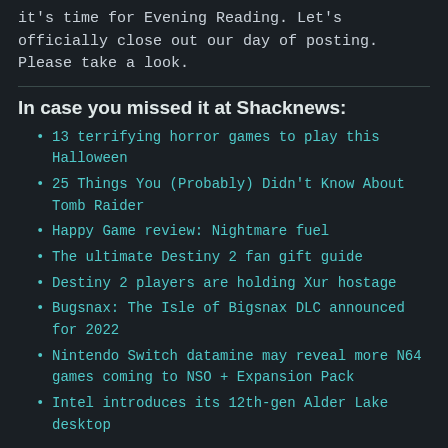it's time for Evening Reading. Let's officially close out our day of posting. Please take a look.
In case you missed it at Shacknews:
13 terrifying horror games to play this Halloween
25 Things You (Probably) Didn't Know About Tomb Raider
Happy Game review: Nightmare fuel
The ultimate Destiny 2 fan gift guide
Destiny 2 players are holding Xur hostage
Bugsnax: The Isle of Bigsnax DLC announced for 2022
Nintendo Switch datamine may reveal more N64 games coming to NSO + Expansion Pack
Intel introduces its 12th-gen Alder Lake desktop